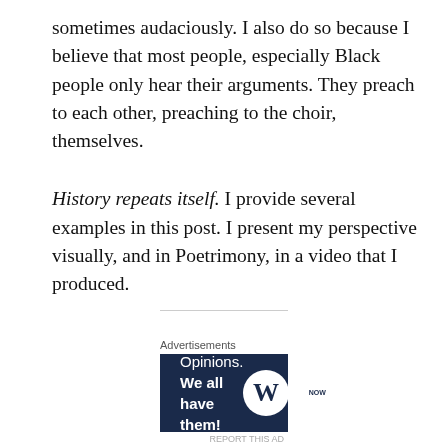sometimes audaciously. I also do so because I believe that most people, especially Black people only hear their arguments. They preach to each other, preaching to the choir, themselves.
History repeats itself. I provide several examples in this post. I present my perspective visually, and in Poetrimony, in a video that I produced.
History Repeats – It's Already Been Told – History. The Remix | World Relations
[Figure (other): Advertisement banner with dark navy background. Left side shows text: 'Opinions.' and bold 'We all have them!' Right side shows WordPress logo (W in a white circle) and another circular logo.]